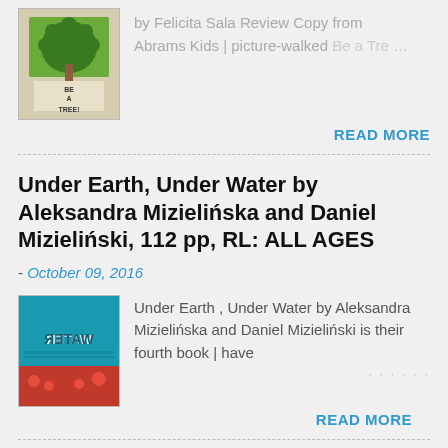[Figure (photo): Book cover thumbnail for 'Be a Tree!' by Felicita Sala]
by Felicita Sala Review Copy from Abrams Kids | picture-walked Be a Tre …
READ MORE
Under Earth, Under Water by Aleksandra Mizielińska and Daniel Mizieliński, 112 pp, RL: ALL AGES
- October 09, 2016
[Figure (photo): Book cover thumbnail for 'Under Earth, Under Water' showing teal/blue cover with 'WATER' text]
Under Earth , Under Water by Aleksandra Mizielińska and Daniel Mizieliński is their fourth book | have …
READ MORE
The New Friend by Charlotte Zolotow, illustrated by Benjamin Chaud